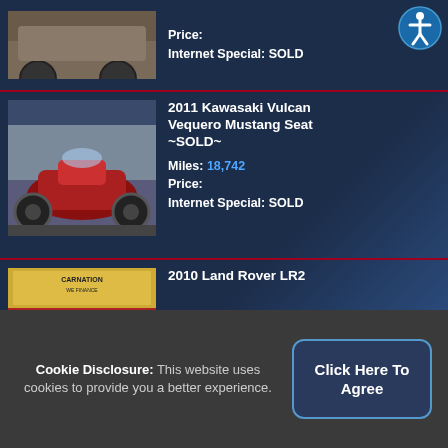[Figure (photo): Partial view of a vehicle (top portion cut off), dark background listing row]
Price:
Internet Special: SOLD
[Figure (photo): 2011 Kawasaki Vulcan Vequero motorcycle in red, parked in front of dealership]
2011 Kawasaki Vulcan Vequero Mustang Seat ~SOLD~
Miles: 18,742
Price:
Internet Special: SOLD
[Figure (photo): 2010 Land Rover LR2 in dark blue/grey, parked in front of Carnation dealership]
2010 Land Rover LR2
Miles:
Price:
Internet Special: ~SOLD~
Cookie Disclosure: This website uses cookies to provide you a better experience.
Click Here To Agree